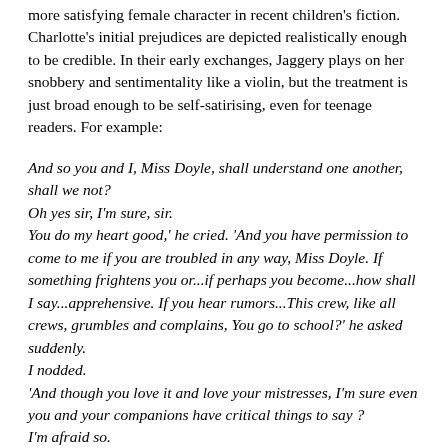more satisfying female character in recent children's fiction. Charlotte's initial prejudices are depicted realistically enough to be credible. In their early exchanges, Jaggery plays on her snobbery and sentimentality like a violin, but the treatment is just broad enough to be self-satirising, even for teenage readers. For example:
And so you and I, Miss Doyle, shall understand one another, shall we not?
Oh yes sir, I'm sure, sir.
You do my heart good,' he cried. 'And you have permission to come to me if you are troubled in any way, Miss Doyle. If something frightens you or...if perhaps you become...how shall I say...apprehensive. If you hear rumors...This crew, like all crews, grumbles and complains, You go to school?' he asked suddenly.
I nodded.
'And though you love it and love your mistresses, I'm sure even you and your companions have critical things to say ?
I'm afraid so.
Its much the same here, Miss Doyle. All friends, but...a few grumbles too. In fact, I shall ask you to help me. You can be my